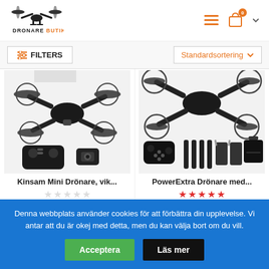[Figure (logo): Dronare Butik logo with drone silhouette above text]
[Figure (infographic): Header navigation icons: hamburger menu, shopping bag with 0 badge, chevron]
FILTERS
Standardsortering
[Figure (photo): Kinsam Mini Drönare foldable drone with controller and camera]
[Figure (photo): PowerExtra Drönare med accessories including controller, blades, batteries and carrying case]
Kinsam Mini Drönare, vik...
PowerExtrа Drönare med...
352.66kr
989.25kr
Denna webbplats använder cookies för att förbättra din upplevelse. Vi antar att du är okej med detta, men du kan välja bort om du vill.
Acceptera
Läs mer